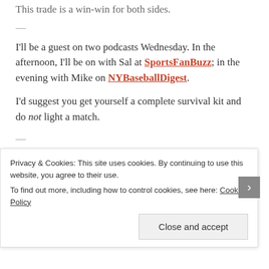This trade is a win-win for both sides.
—
I'll be a guest on two podcasts Wednesday. In the afternoon, I'll be on with Sal at SportsFanBuzz; in the evening with Mike on NYBaseballDigest.
I'd suggest you get yourself a complete survival kit and do not light a match.
—
Paul Lebowitz's 2011 Baseball Guide is available.
Privacy & Cookies: This site uses cookies. By continuing to use this website, you agree to their use. To find out more, including how to control cookies, see here: Cookie Policy
Close and accept